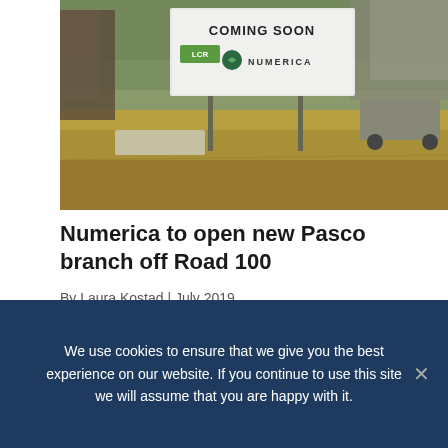[Figure (photo): Construction site photo showing a 'Coming Soon' sign with Numerica credit union logo on a vacant lot with dry grass and partial building structures in background]
Numerica to open new Pasco branch off Road 100
By Laura Kostad | July 2019
Spokane-based Numerica Credit Union is building a new branch off Road 100 in Pasco. The 3,152-square-foot new office at 4845 Broadmoor Blvd. will
We use cookies to ensure that we give you the best experience on our website. If you continue to use this site we will assume that you are happy with it.